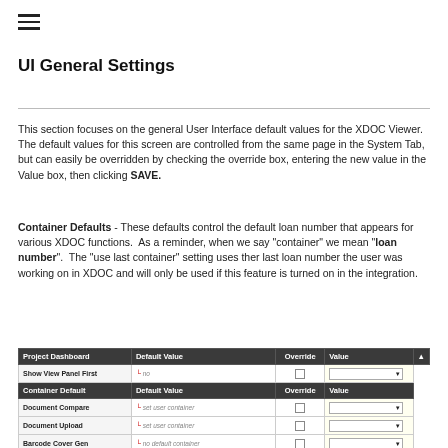≡ (hamburger menu icon)
UI General Settings
This section focuses on the general User Interface default values for the XDOC Viewer. The default values for this screen are controlled from the same page in the System Tab, but can easily be overridden by checking the override box, entering the new value in the Value box, then clicking SAVE.
Container Defaults - These defaults control the default loan number that appears for various XDOC functions. As a reminder, when we say "container" we mean "loan number". The "use last container" setting uses ther last loan number the user was working on in XDOC and will only be used if this feature is turned on in the integration.
| Project Dashboard | Default Value | Override | Value | ↑ |
| --- | --- | --- | --- | --- |
| Show View Panel First | no |  |  |
| Container Default | Default Value | Override | Value | ↑ |
| Document Compare | set user container |  |  |
| Document Upload | set user container |  |  |
| Barcode Cover Gen | no default container |  |  |
| Bundle Generate | no default container |  |  |